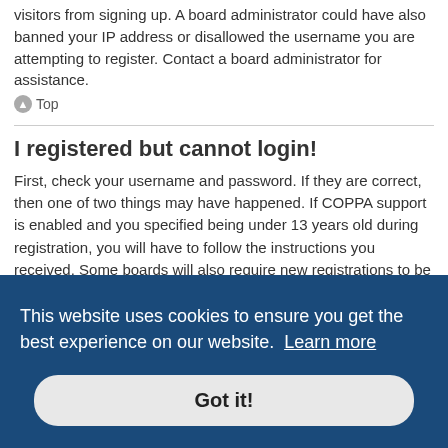visitors from signing up. A board administrator could have also banned your IP address or disallowed the username you are attempting to register. Contact a board administrator for assistance.
Top
I registered but cannot login!
First, check your username and password. If they are correct, then one of two things may have happened. If COPPA support is enabled and you specified being under 13 years old during registration, you will have to follow the instructions you received. Some boards will also require new registrations to be activated, either by yourself or by an administrator before you can logon; this information was present during registration. If you were sent an email, follow the instructions. If you did not receive an email, you may have provided an incorrect email address or the email may have been picked up by a spam filer. If you are sure the email address you provided is
This website uses cookies to ensure you get the best experience on our website. Learn more
Got it!
administrator to make sure you haven't been banned. It is also possible the